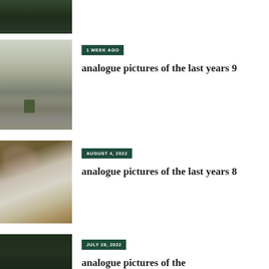[Figure (photo): Partial top of a photo showing a dark green outdoor scene, cut off at top]
[Figure (photo): Photo of a cyclist on a road with autumn landscape in the background]
1 WEEK AGO
analogue pictures of the last years 9
[Figure (photo): Analogue photo with light leak showing trees and sky]
AUGUST 4, 2022
analogue pictures of the last years 8
[Figure (photo): Dark green outdoor photo partially visible at bottom]
JULY 28, 2022
analogue pictures of the